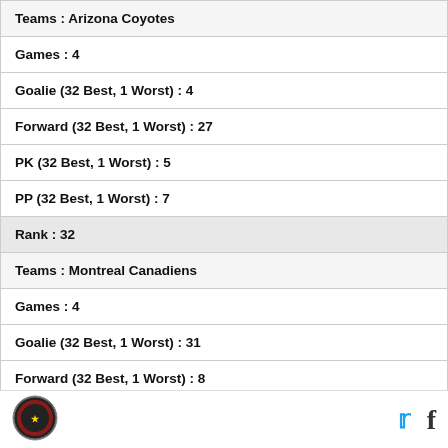| Teams : Arizona Coyotes |
| Games : 4 |
| Goalie (32 Best, 1 Worst) : 4 |
| Forward (32 Best, 1 Worst) : 27 |
| PK (32 Best, 1 Worst) : 5 |
| PP (32 Best, 1 Worst) : 7 |
| Rank : 32 |
| Teams : Montreal Canadiens |
| Games : 4 |
| Goalie (32 Best, 1 Worst) : 31 |
| Forward (32 Best, 1 Worst) : 8 |
[Figure (logo): Sports website logo with circular emblem]